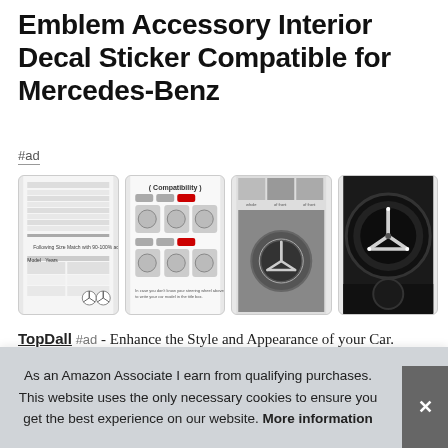Emblem Accessory Interior Decal Sticker Compatible for Mercedes-Benz
#ad
[Figure (screenshot): Four product thumbnail images showing Mercedes-Benz steering wheel emblem decal sticker: compatibility chart table, compatibility diagram with steering wheel photos, close-up of installed sticker on steering wheel, and dark close-up of Mercedes star emblem]
TopDall #ad - Enhance the Style and Appearance of your Car. 100% brand new and High Quality. Crystal rhinestone Steering Whe... Prod...
As an Amazon Associate I earn from qualifying purchases. This website uses the only necessary cookies to ensure you get the best experience on our website. More information